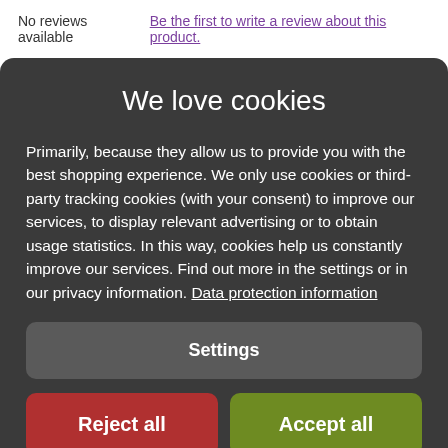No reviews available  Be the first to write a review about this product.
We love cookies
Primarily, because they allow us to provide you with the best shopping experience. We only use cookies or third-party tracking cookies (with your consent) to improve our services, to display relevant advertising or to obtain usage statistics. In this way, cookies help us constantly improve our services. Find out more in the settings or in our privacy information. Data protection information
Settings
Reject all
Accept all